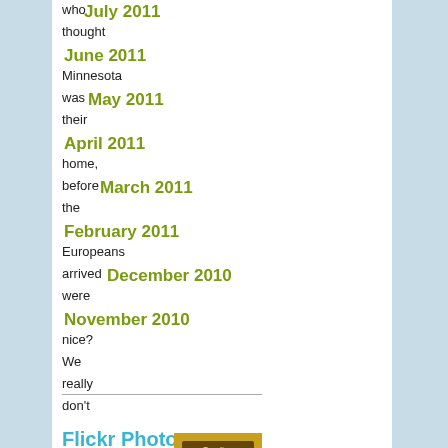July 2011
thought
June 2011
Minnesota
May 2011
was
their
April 2011
home,
March 2011
before
the
February 2011
Europeans
December 2010
arrived
were
November 2010
nice?
We
really
don't
Flickr Photos
know
because
when
the
Europeans
cleared
the
land